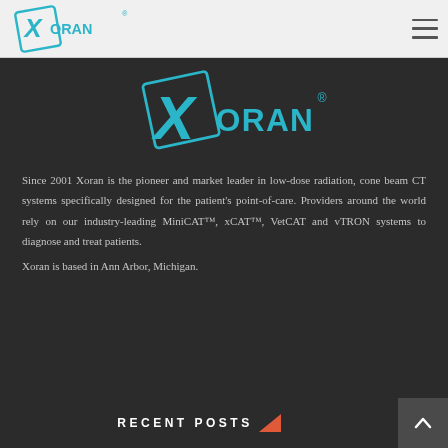[Figure (logo): Xoran logo in teal/cyan color in the page header navigation bar]
[Figure (logo): Large Xoran logo centered in teal/cyan on dark background]
Since 2001 Xoran is the pioneer and market leader in low-dose radiation, cone beam CT systems specifically designed for the patient's point-of-care. Providers around the world rely on our industry-leading MiniCAT™, xCAT™, VetCAT and vTRON systems to diagnose and treat patients. Xoran is based in Ann Arbor, Michigan.
RECENT POSTS